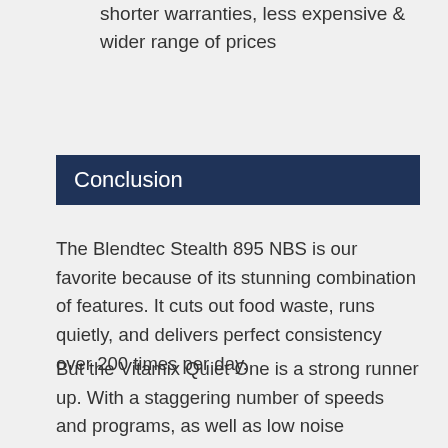shorter warranties, less expensive & wider range of prices
Conclusion
The Blendtec Stealth 895 NBS is our favorite because of its stunning combination of features. It cuts out food waste, runs quietly, and delivers perfect consistency over 200 times per day.
But the Vitamix Quiet One is a strong runner up. With a staggering number of speeds and programs, as well as low noise operation it will make a solid addition to